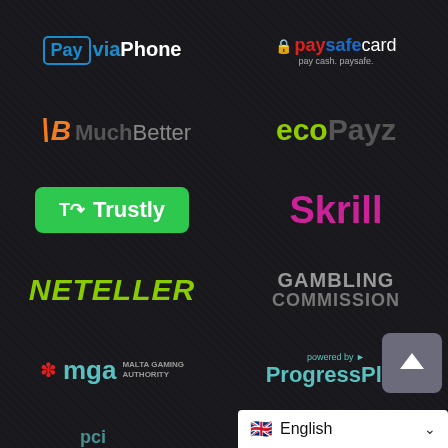[Figure (logo): PayViaPhone logo - blue square with Pay text and viaPhone text]
[Figure (logo): paysafecard logo - red lock icon with paysafe in red/blue and card in white, pay cash. paysafe. tagline]
[Figure (logo): MuchBetter logo - orange B icon with MuchBetter text]
[Figure (logo): ecoPayz logo - lime green eco with dark Payz text]
[Figure (logo): Trustly logo - green rounded rectangle button with T icon and Trustly text in white]
[Figure (logo): Skrill logo - magenta/pink bold text Skrill]
[Figure (logo): NETELLER logo - yellow-green italic bold text]
[Figure (logo): GAMBLING COMMISSION text logo in grey]
[Figure (logo): mga Malta Gaming Authority logo - red asterisk with mga in teal and MALTA GAMING AUTHORITY text]
[Figure (logo): ProgressPlay logo - powered by text above ProgressPlay in teal]
[Figure (logo): PCI security logo partially visible at bottom]
English